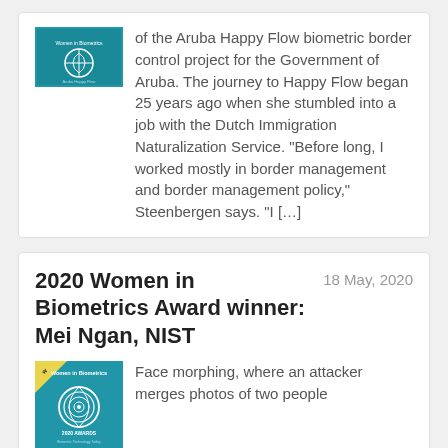[Figure (illustration): Thumbnail image for article about Aruba Happy Flow biometric border control project, blue/teal colored badge or logo graphic]
of the Aruba Happy Flow biometric border control project for the Government of Aruba. The journey to Happy Flow began 25 years ago when she stumbled into a job with the Dutch Immigration Naturalization Service. “Before long, I worked mostly in border management and border management policy,” Steenbergen says. “I […]
2020 Women in Biometrics Award winner: Mei Ngan, NIST
18 May, 2020
[Figure (illustration): Women in Biometrics 2020 Awards badge/logo, blue and teal with fingerprint graphic]
Face morphing, where an attacker merges photos of two people